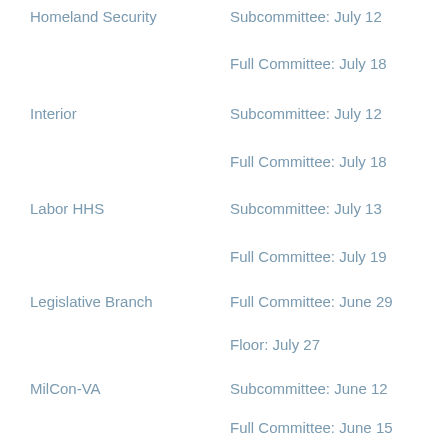Homeland Security — Subcommittee: July 12
Homeland Security — Full Committee: July 18
Interior — Subcommittee: July 12
Interior — Full Committee: July 18
Labor HHS — Subcommittee: July 13
Labor HHS — Full Committee: July 19
Legislative Branch — Full Committee: June 29
Legislative Branch — Floor: July 27
MilCon-VA — Subcommittee: June 12
MilCon-VA — Full Committee: June 15
MilCon-VA — Floor: July 27